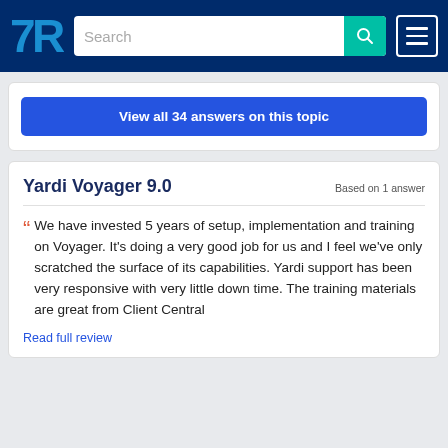TrustRadius header with logo, search bar, and menu
View all 34 answers on this topic
Yardi Voyager 9.0
Based on 1 answer
We have invested 5 years of setup, implementation and training on Voyager. It's doing a very good job for us and I feel we've only scratched the surface of its capabilities. Yardi support has been very responsive with very little down time. The training materials are great from Client Central
Read full review